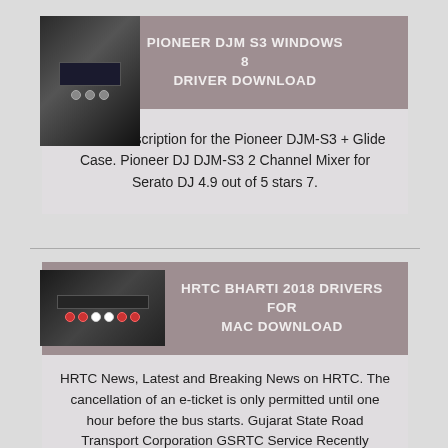PIONEER DJM S3 WINDOWS 8 DRIVER DOWNLOAD
[Figure (photo): Pioneer DJM-S3 DJ mixer device photo]
Product Description for the Pioneer DJM-S3 + Glide Case. Pioneer DJ DJM-S3 2 Channel Mixer for Serato DJ 4.9 out of 5 stars 7.
HRTC BHARTI 2018 DRIVERS FOR MAC DOWNLOAD
[Figure (photo): Pioneer DJ mixer rear panel photo]
HRTC News, Latest and Breaking News on HRTC. The cancellation of an e-ticket is only permitted until one hour before the bus starts. Gujarat State Road Transport Corporation GSRTC Service Recently Published The Recruitment